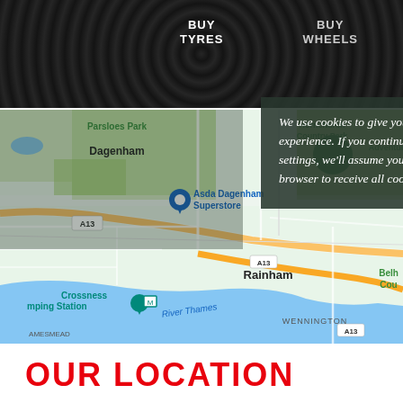BUY TYRES | BUY WHEELS
We use cookies to give you the best possible online experience. If you continue without changing your settings, we'll assume you are happy for your web browser to receive all cookies from our website.
[Figure (map): Google Maps view showing Dagenham area including Parsloes Park, Hornchurch Country Park, Asda Dagenham Superstore, A13 road, River Thames, Rainham, Crossness Pumping Station, and Wennington.]
OUR LOCATION